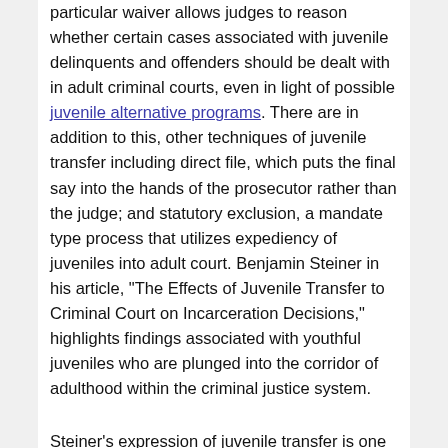particular waiver allows judges to reason whether certain cases associated with juvenile delinquents and offenders should be dealt with in adult criminal courts, even in light of possible juvenile alternative programs. There are in addition to this, other techniques of juvenile transfer including direct file, which puts the final say into the hands of the prosecutor rather than the judge; and statutory exclusion, a mandate type process that utilizes expediency of juveniles into adult court. Benjamin Steiner in his article, "The Effects of Juvenile Transfer to Criminal Court on Incarceration Decisions," highlights findings associated with youthful juveniles who are plunged into the corridor of adulthood within the criminal justice system.
Steiner's expression of juvenile transfer is one of straightforwardness, opening with a definition of what juvenile transfer is and the court cases where the subject matter has taken place. Steiner takes the reader on a judicial voyage through Kent v. United States and In re